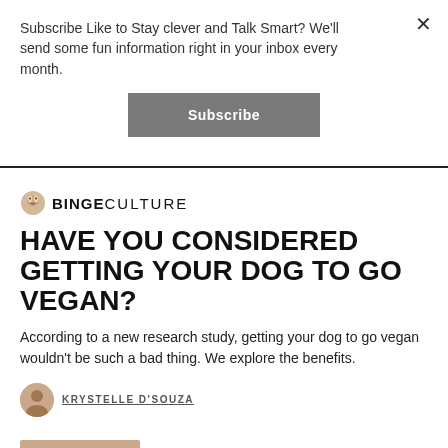Subscribe Like to Stay clever and Talk Smart? We'll send some fun information right in your inbox every month.
Subscribe
[Figure (logo): BingeCulture logo with icon]
HAVE YOU CONSIDERED GETTING YOUR DOG TO GO VEGAN?
According to a new research study, getting your dog to go vegan wouldn't be such a bad thing. We explore the benefits.
KRYSTELLE D'SOUZA